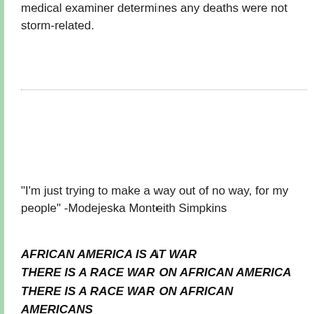medical examiner determines any deaths were not storm-related.
"I'm just trying to make a way out of no way, for my people" -Modejeska Monteith Simpkins
AFRICAN AMERICA IS AT WAR
THERE IS A RACE WAR ON AFRICAN AMERICA
THERE IS A RACE WAR ON AFRICAN AMERICANS
THERE IS A RACE WAR ON BLACK PEOPLE IN